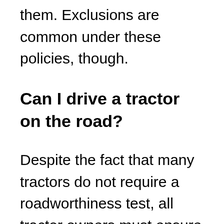them. Exclusions are common under these policies, though.
Can I drive a tractor on the road?
Despite the fact that many tractors do not require a roadworthiness test, all tractor owners must ensure their vehicle is roadworthy before operating it on public roads. It is required by law. Furthermore